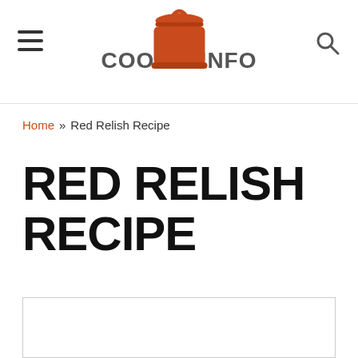COOK'S INFO
Home » Red Relish Recipe
RED RELISH RECIPE
[Figure (photo): Image placeholder box for recipe photo, white background with light gray border]